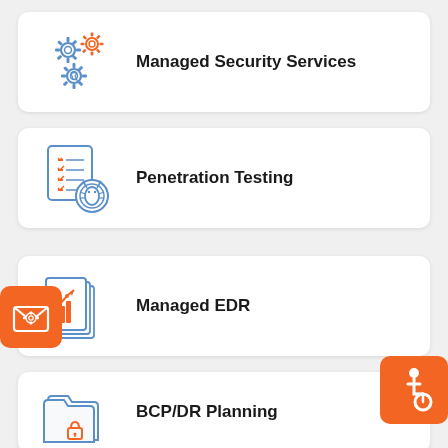Managed Security Services
Penetration Testing
Managed EDR
BCP/DR Planning